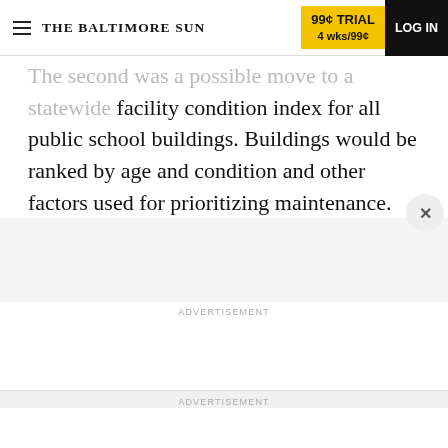THE BALTIMORE SUN | 99¢ TRIAL 4 wks/99¢ | LOG IN
The second was a possible move to a statewide facility condition index for all public school buildings. Buildings would be ranked by age and condition and other factors used for prioritizing maintenance.
ADVERTISEMENT
ADVERTISEMENT